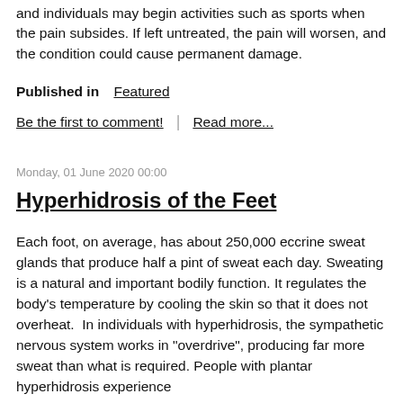and individuals may begin activities such as sports when the pain subsides. If left untreated, the pain will worsen, and the condition could cause permanent damage.
Published in  Featured
Be the first to comment!  |  Read more...
Monday, 01 June 2020 00:00
Hyperhidrosis of the Feet
Each foot, on average, has about 250,000 eccrine sweat glands that produce half a pint of sweat each day. Sweating is a natural and important bodily function. It regulates the body's temperature by cooling the skin so that it does not overheat.  In individuals with hyperhidrosis, the sympathetic nervous system works in "overdrive", producing far more sweat than what is required. People with plantar hyperhidrosis experience